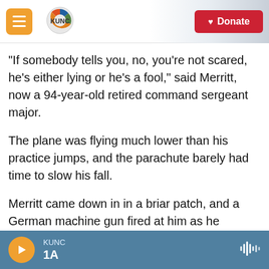KUNC | Donate
"If somebody tells you, no, you're not scared, he's either lying or he's a fool," said Merritt, now a 94-year-old retired command sergeant major.
The plane was flying much lower than his practice jumps, and the parachute barely had time to slow his fall.
Merritt came down in in a briar patch, and a German machine gun fired at him as he wriggled out of his parachute harness. Then an American transport plane fell towards him, on fire. As it passed just overhead he saw the lines trailing out
KUNC | 1A